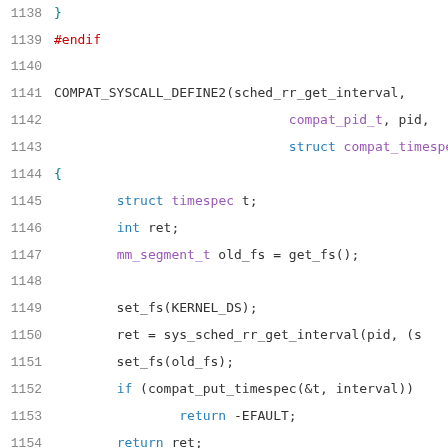Source code listing, lines 1138–1158, kernel compat syscall implementation